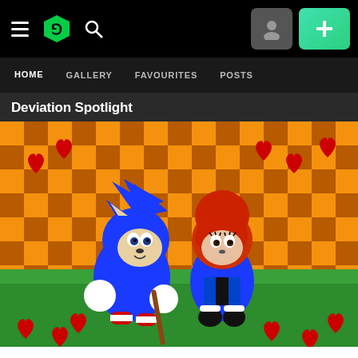DeviantArt navigation bar with hamburger menu, DA logo, search icon, profile button, and + button
HOME | GALLERY | FAVOURITES | POSTS
Deviation Spotlight
[Figure (illustration): 3D rendered fan art of Sonic the Hedgehog and a female hedgehog character (Sally Acorn) standing together on green grass with orange checkerboard background. Red hearts scattered around them. Sonic is blue with white gloves and red shoes. The female character has red hair and blue outfit.]